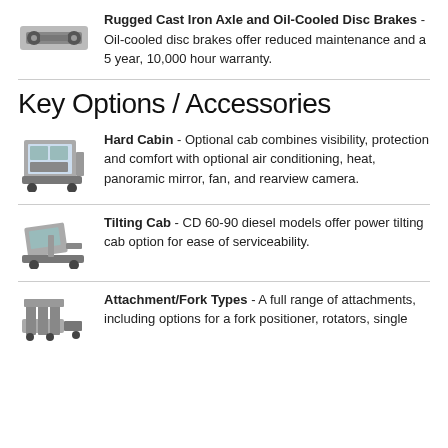Rugged Cast Iron Axle and Oil-Cooled Disc Brakes - Oil-cooled disc brakes offer reduced maintenance and a 5 year, 10,000 hour warranty.
Key Options / Accessories
Hard Cabin - Optional cab combines visibility, protection and comfort with optional air conditioning, heat, panoramic mirror, fan, and rearview camera.
Tilting Cab - CD 60-90 diesel models offer power tilting cab option for ease of serviceability.
Attachment/Fork Types - A full range of attachments, including options for a fork positioner, rotators, single...